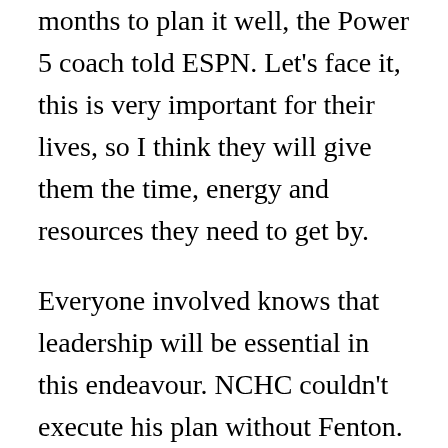months to plan it well, the Power 5 coach told ESPN. Let's face it, this is very important for their lives, so I think they will give them the time, energy and resources they need to get by.
Everyone involved knows that leadership will be essential in this endeavour. NCHC couldn't execute his plan without Fenton. Dan Gavitt, NCAA Senior Vice President of Basketball Operations, will be the most attention-grabbing figure at the NCAA tournament.
I have a lot of faith in Dan Gavit, said Mick Cronin of UCLA. Those of us who know Dan